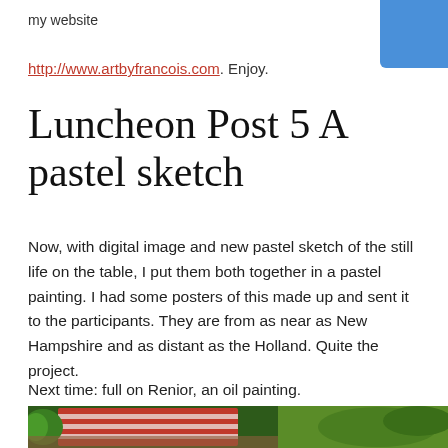my website
http://www.artbyfrancois.com. Enjoy.
Luncheon Post 5 A pastel sketch
Now, with digital image and new pastel sketch of the still life on the table, I put them both together in a pastel painting. I had some posters of this made up and sent it to the participants. They are from as near as New Hampshire and as distant as the Holland. Quite the project.
Next time: full on Renior, an oil painting.
[Figure (photo): Bottom strip of a colorful pastel painting showing a still life with watermelon and vegetables on a table]